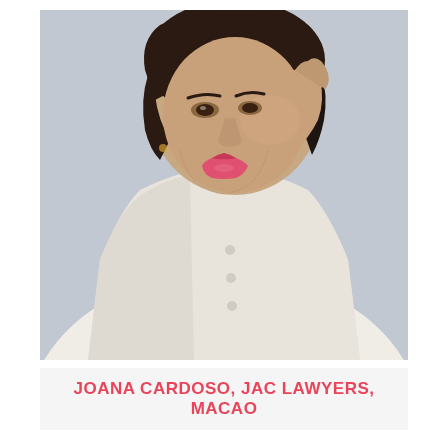[Figure (photo): Portrait photograph of a woman with dark hair, resting her chin/cheek on her right hand, wearing a white blouse/jacket, looking slightly to the side with a subtle smile. Background is light grey/blue.]
JOANA CARDOSO, JAC LAWYERS, MACAO